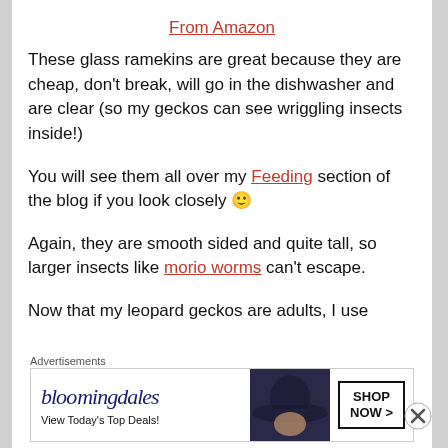From Amazon
These glass ramekins are great because they are cheap, don't break, will go in the dishwasher and are clear (so my geckos can see wriggling insects inside!)
You will see them all over my Feeding section of the blog if you look closely 🙂
Again, they are smooth sided and quite tall, so larger insects like morio worms can't escape.
Now that my leopard geckos are adults, I use
Advertisements
[Figure (other): Bloomingdale's advertisement banner: 'bloomingdales / View Today's Top Deals!' with a woman wearing a wide-brim hat and a 'SHOP NOW >' button]